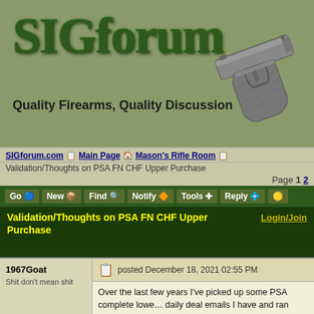[Figure (logo): SIGforum website header with large green 3D text 'SIGforum', tagline 'Quality Firearms, Quality Discussion', and a handgun image on the right]
SIGforum.com | Main Page | Mason's Rifle Room | Validation/Thoughts on PSA FN CHF Upper Purchase
Page 1 2
Go | New | Find | Notify | Tools | Reply
Validation/Thoughts on PSA FN CHF Upper Purchase
Login/Join
1967Goat
Shit don't mean shit
posted December 18, 2021 02:55 PM
Over the last few years I've picked up some PSA complete lowers from the daily deal emails I have and ran across an ad for a 14.7" upper with one of those...obviously at additional cost.

I am finding it hard to resist a FN CHF lightweight upper for onl

The purpose for this is home defense & plinking. I don't need 1

Thoughts, opinions or just a validation on me getting it?